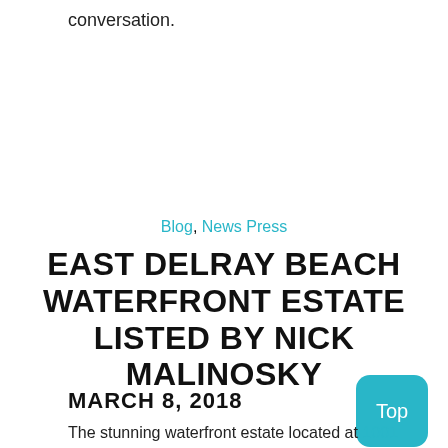conversation.
Blog, News Press
EAST DELRAY BEACH WATERFRONT ESTATE LISTED BY NICK MALINOSKY
MARCH 8, 2018
The stunning waterfront estate located at 1001